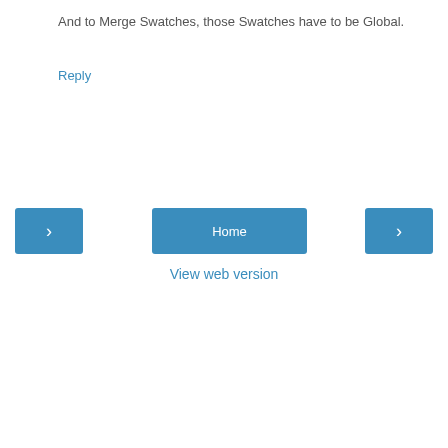And to Merge Swatches, those Swatches have to be Global.
Reply
‹
Home
›
View web version